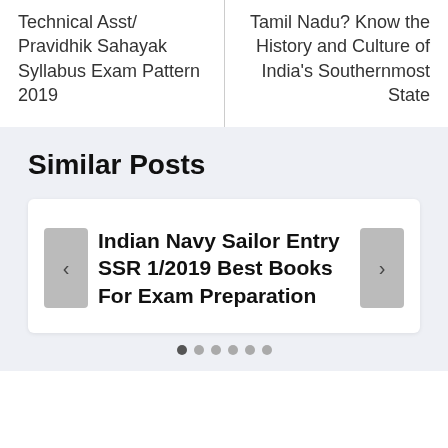Technical Asst/ Pravidhik Sahayak Syllabus Exam Pattern 2019
Tamil Nadu? Know the History and Culture of India's Southernmost State
Similar Posts
Indian Navy Sailor Entry SSR 1/2019 Best Books For Exam Preparation